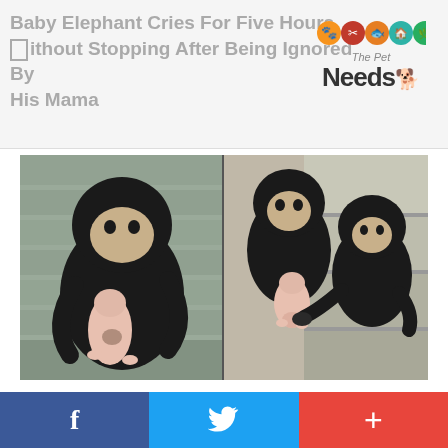Baby Elephant Cries For Five Hours Without Stopping After Being Ignored By His Mama
[Figure (photo): Two-panel photo showing chimpanzees with a small dog/puppy. Left panel: a young chimpanzee holding a hairless puppy against a stone wall. Right panel: two young chimpanzees on stone steps interacting with the puppy.]
Dying Dog Brought To Chimp Sanctuary, Healed After Being Cared From A Chimp